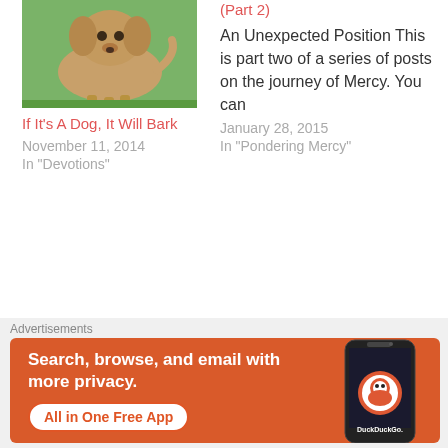[Figure (photo): Photo of a golden/brown fluffy dog standing on green grass]
If It's A Dog, It Will Bark
November 11, 2014
In "Devotions"
(Part 2)
An Unexpected Position This is part two of a series of posts on the journey of Mercy. You can
January 28, 2015
In "Pondering Mercy"
Crying Out With A Smashed Finger #FighterVerse
Fighter Verse For July 19, 2015 This poor man cried, and
Advertisements
[Figure (screenshot): DuckDuckGo advertisement banner: orange background with text 'Search, browse, and email with more privacy. All in One Free App' and a phone image showing DuckDuckGo logo]